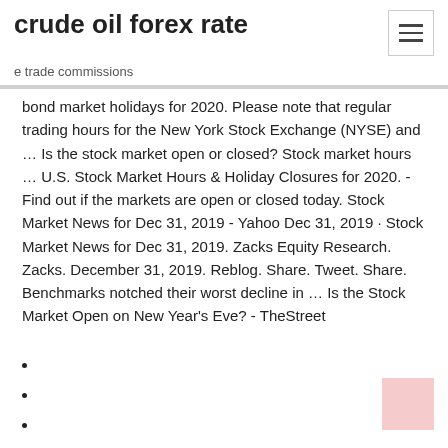crude oil forex rate
e trade commissions
bond market holidays for 2020. Please note that regular trading hours for the New York Stock Exchange (NYSE) and … Is the stock market open or closed? Stock market hours … U.S. Stock Market Hours & Holiday Closures for 2020. - Find out if the markets are open or closed today. Stock Market News for Dec 31, 2019 - Yahoo Dec 31, 2019 · Stock Market News for Dec 31, 2019. Zacks Equity Research. Zacks. December 31, 2019. Reblog. Share. Tweet. Share. Benchmarks notched their worst decline in … Is the Stock Market Open on New Year's Eve? - TheStreet